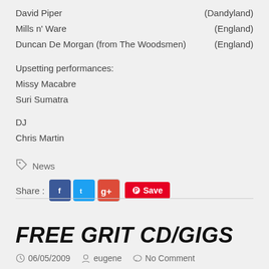David Piper   (Dandyland)
Mills n' Ware   (England)
Duncan De Morgan (from The Woodsmen)   (England)
Upsetting performances:
Missy Macabre
Suri Sumatra
DJ
Chris Martin
News
Share :
FREE GRIT CD/GIGS
06/05/2009  eugene  No Comment